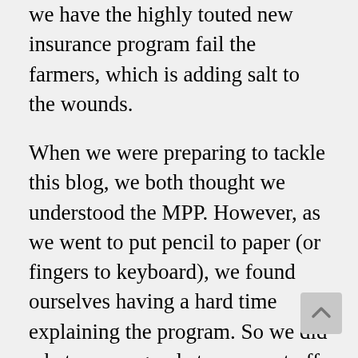we have the highly touted new insurance program fail the farmers, which is adding salt to the wounds.
When we were preparing to tackle this blog, we both thought we understood the MPP. However, as we went to put pencil to paper (or fingers to keyboard), we found ourselves having a hard time explaining the program. So we did what we are good at — we set off to research the issue. There were many explanations being bandied about, all of which were long, obtuse, and leaving one scratching one's head and saying, "Huh?" We need to thank a friend, Jay Phinizy, former USDA–FSA director in New Hampshire and chair of the House Ag Committee, for his patience in